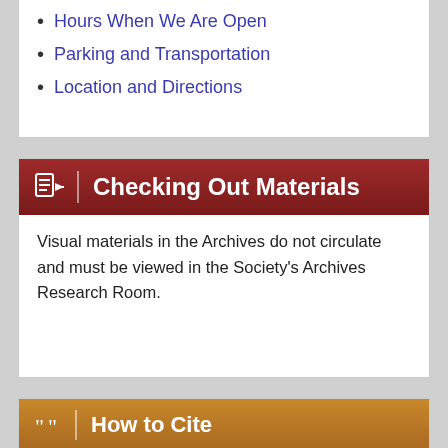Hours When We Are Open
Parking and Transportation
Location and Directions
Checking Out Materials
Visual materials in the Archives do not circulate and must be viewed in the Society's Archives Research Room.
How to Cite
For the purposes of a bibliography entry or footnote, follow this model:
Wisconsin Historical Society Citation